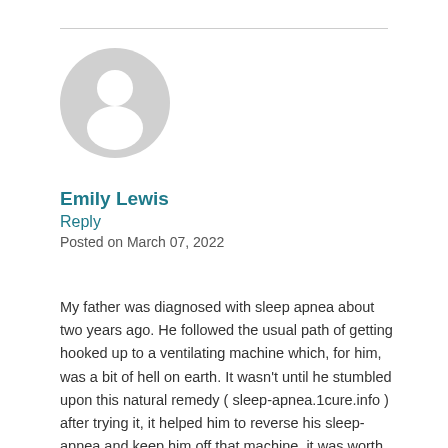[Figure (illustration): Generic user avatar icon: a gray circle with a white silhouette of a person (head and shoulders)]
Emily Lewis
Reply
Posted on March 07, 2022
My father was diagnosed with sleep apnea about two years ago. He followed the usual path of getting hooked up to a ventilating machine which, for him, was a bit of hell on earth. It wasn't until he stumbled upon this natural remedy ( sleep-apnea.1cure.info ) after trying it, it helped him to reverse his sleep-apnea and keep him off that machine, it was worth trying, really.